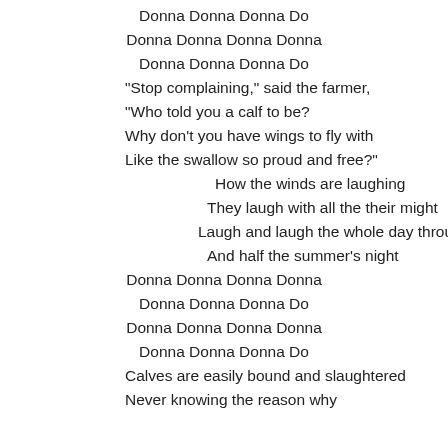Donna Donna Donna Do
Donna Donna Donna Donna
Donna Donna Donna Do
“Stop complaining,” said the farmer,
“Who told you a calf to be?
Why don’t you have wings to fly with
Like the swallow so proud and free?”
How the winds are laughing
They laugh with all the their might
Laugh and laugh the whole day through
And half the summer’s night
Donna Donna Donna Donna
Donna Donna Donna Do
Donna Donna Donna Donna
Donna Donna Donna Do
Calves are easily bound and slaughtered
Never knowing the reason why